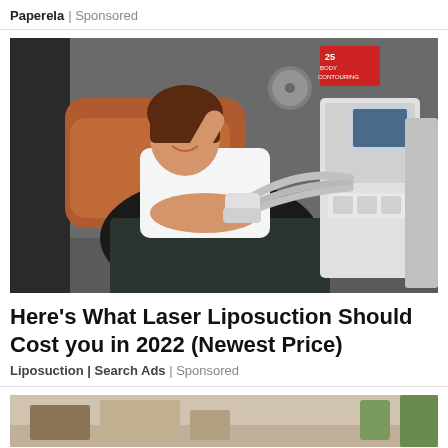Paperela | Sponsored
[Figure (photo): Woman lying on a treatment chair smiling, with laser body contouring machine applicators placed on her abdomen. Medical/spa setting with equipment visible including a monitor and supply tray. Sign in background reads '25 Body Contouring'.]
Here's What Laser Liposuction Should Cost you in 2022 (Newest Price)
Liposuction | Search Ads | Sponsored
[Figure (photo): Partial view of a room interior, bottom of page, showing what appears to be a living room setting.]